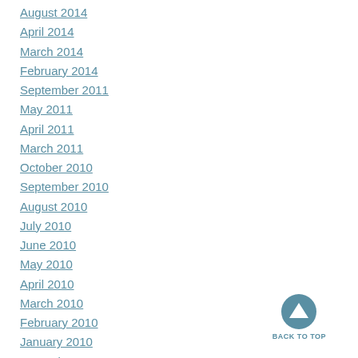August 2014
April 2014
March 2014
February 2014
September 2011
May 2011
April 2011
March 2011
October 2010
September 2010
August 2010
July 2010
June 2010
May 2010
April 2010
March 2010
February 2010
January 2010
December 2009
[Figure (other): Back to top button — circular teal icon with upward arrow, labeled BACK TO TOP]